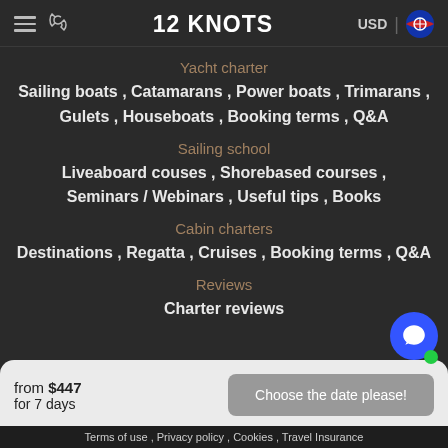12 KNOTS | USD
Yacht charter
Sailing boats , Catamarans , Power boats , Trimarans , Gulets , Houseboats , Booking terms , Q&A
Sailing school
Liveaboard couses , Shorebased courses , Seminars / Webinars , Useful tips , Books
Cabin charters
Destinations , Regatta , Cruises , Booking terms , Q&A
Reviews
Charter reviews
from $447 for 7 days
Choose the date please!
Terms of use , Privacy policy , Cookies , Travel Insurance